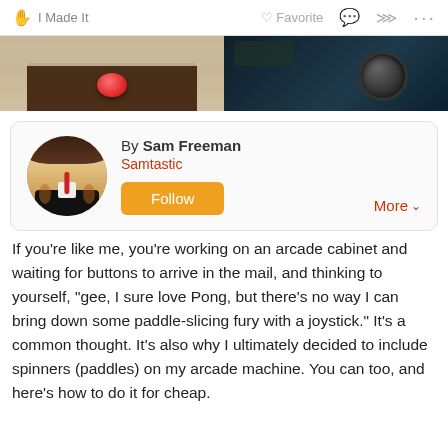✋ I Made It   ♡ Favorite   💬   ⋮ ...
[Figure (photo): Two photos: left shows a dark wooden arcade cabinet panel with a red button, right shows a dark close-up of an arcade component.]
By Sam Freeman
Samtastic
Follow
More
If you're like me, you're working on an arcade cabinet and waiting for buttons to arrive in the mail, and thinking to yourself, "gee, I sure love Pong, but there's no way I can bring down some paddle-slicing fury with a joystick." It's a common thought. It's also why I ultimately decided to include spinners (paddles) on my arcade machine. You can too, and here's how to do it for cheap.